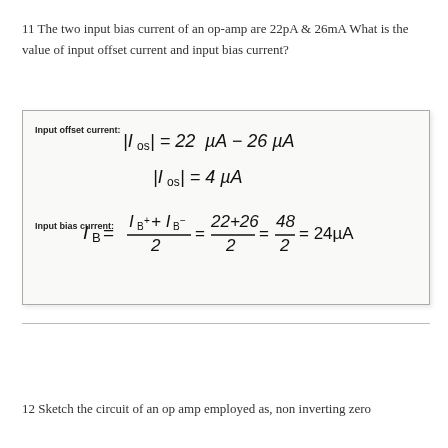11 The two input bias current of an op-amp are 22pA & 26mA What is the value of input offset current and input bias current?
[Figure (photo): Handwritten solution box showing: Input offset current: |Ios| = 22µA - 26µA, |Ios| = 4µA. Input bias current: IB = (IB+ + IB-)/2 = (22+26)/2 = 48/2 = 24µA]
12 Sketch the circuit of an op amp employed as, non inverting zero